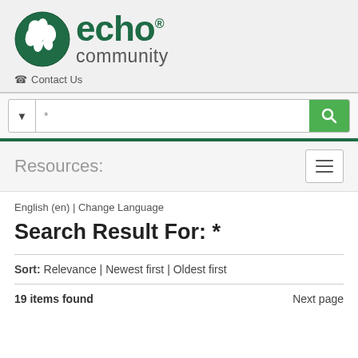[Figure (logo): Echo Community logo: green circular leaf/plant icon with 'echo' in large bold green text and 'community' below in grey]
Contact Us
* (search input with dropdown and search button)
Resources:
English (en) | Change Language
Search Result For: *
Sort: Relevance | Newest first | Oldest first
19 items found  Next page